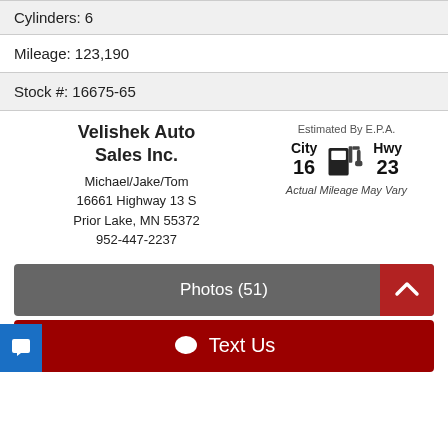Cylinders: 6
Mileage: 123,190
Stock #: 16675-65
Velishek Auto Sales Inc.
Michael/Jake/Tom
16661 Highway 13 S
Prior Lake, MN 55372
952-447-2237
Estimated By E.P.A.
City 16   Hwy 23
Actual Mileage May Vary
Photos (51)
Text Us